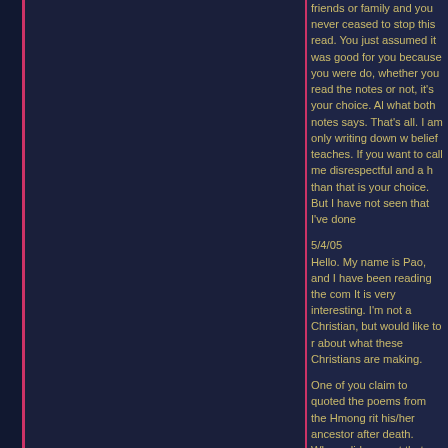friends or family and you never ceased to stop this read. You just assumed it was good for you because you were do, whether you read the notes or not, it's your choice. Al what both notes says. That's all. I am only writing down w belief teaches. If you want to call me disrespectful and a h than that is your choice. But I have not seen that I've done
5/4/05
Hello. My name is Pao, and I have been reading the com It is very interesting. I'm not a Christian, but would like to r about what these Christians are making.
One of you claim to quoted the poems from the Hmong rit his/her ancestor after death. Where did you get that poem you are just making that up or not. I think you are just pull (what I mean is that you are making this up). Why would a Devil's son. I'm sure we Hmong people are smarter than t are being sent to hell, than we would not choose that way many Hmong people believe in Shamanism, and have no know that what you are saying is a bunch of lies. I'm sure what you are saying. From what I been told, after we die, ancestor, and that's all. Also, you are a Christain, so why much about what is Shamanism. This does not make sen
5/4/05
PKV
PKV-In Response
I am not a gentleman. Once again, I am a young lady. I'm of view on shamanism. I am sure many of you have atten funerals and are aware of it. However, what still stric